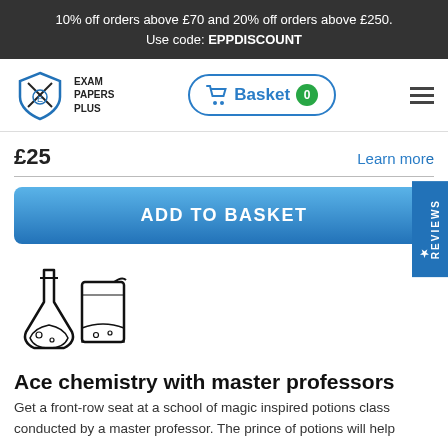10% off orders above £70 and 20% off orders above £250. Use code: EPPDISCOUNT
[Figure (logo): Exam Papers Plus logo with shield and crossed pencils icon]
£25
Learn more
ADD TO BASKET
[Figure (illustration): Chemistry flask and beaker icons]
Ace chemistry with master professors
Get a front-row seat at a school of magic inspired potions class conducted by a master professor. The prince of potions will help